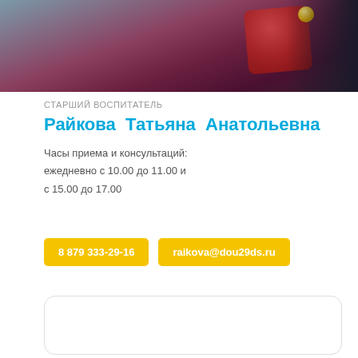[Figure (photo): Cropped photo of a person wearing a dark burgundy/maroon outfit with decorative red brooch and gold pin, dark background on right side]
СТАРШИЙ ВОСПИТАТЕЛЬ
Райкова Татьяна Анатольевна
Часы приема и консультаций: ежедневно с 10.00 до 11.00 и с 15.00 до 17.00
8 879 333-29-16
raikova@dou29ds.ru
[Figure (other): Empty rounded rectangle box at the bottom of the page]